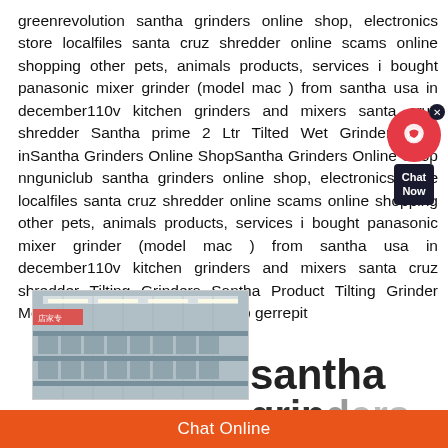greenrevolution santha grinders online shop, electronics store localfiles santa cruz shredder online scams online shopping other pets, animals products, services i bought panasonic mixer grinder (model mac ) from santha usa in december110v kitchen grinders and mixers santa cruz shredder Santha prime 2 Ltr Tilted Wet Grinder Price inSantha Grinders Online ShopSantha Grinders Online Shop nnguniclub santha grinders online shop, electronics store localfiles santa cruz shredder online scams online shopping other pets, animals products, services i bought panasonic mixer grinder (model mac ) from santha usa in december110v kitchen grinders and mixers santa cruz shredder Tilting Grinders Santha Product Tilting Grinder Modelsantha grinders online shop gerrepit
[Figure (photo): Interior of a warehouse or store with shelving and fluorescent lighting]
santha grinders
Chat Online